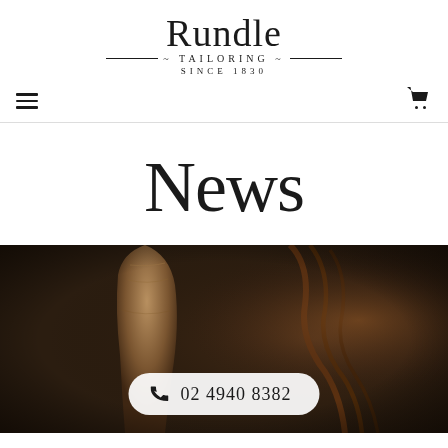Rundle Tailoring Since 1830
News
[Figure (photo): Dark studio photo of a horse leg and harness/equipment, with a phone call button overlay showing 02 4940 8382]